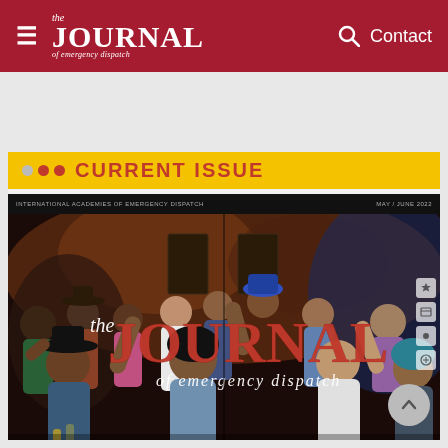the JOURNAL of emergency dispatch — Contact
CURRENT ISSUE
[Figure (photo): Cover of The Journal of Emergency Dispatch magazine, showing a crowd of people dancing and celebrating at an event. The cover features the magazine logo 'the JOURNAL of emergency dispatch' in large red and white letters. Small text reads 'INTERNATIONAL ACADEMIES OF EMERGENCY DISPATCH' and 'MAY / JUNE 2022'.]